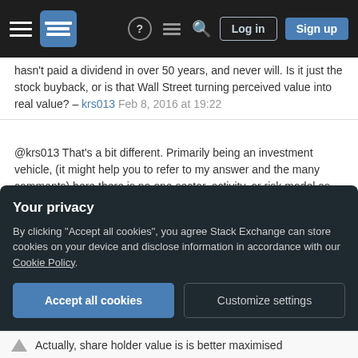Stack Exchange navigation bar with Log in and Sign up buttons
hasn't paid a dividend in over 50 years, and never will. Is it just the stock buyback, or is that Wall Street turning perceived value into real value? – krs013 Feb 8, 2016 at 19:22
@krs013 That's a bit different. Primarily being an investment vehicle, (it might help you to refer to my answer and the many comments) here there is no one sector, activity, or risk model as such, etc, and no particular gearing ratio, other than financial, and no fixed expectation of return. What dividend then would be appropriate or expected? Further, Berkshire Hathaway's mandate is making money from investment and compound returns, so reinvestment is
Your privacy
By clicking "Accept all cookies", you agree Stack Exchange can store cookies on your device and disclose information in accordance with our Cookie Policy.
Accept all cookies
Customize settings
Actually, share holder value is is better maximised